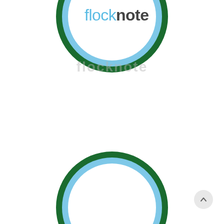[Figure (logo): Flocknote circular logo at top, with dark green outer ring, light blue inner ring, and 'Flocknote' text inside (flock in light blue, note in dark gray), partially cropped at top]
flocknote
[Figure (logo): Flocknote circular logo at bottom, with dark green outer ring and light blue inner ring, partially cropped at bottom]
[Figure (other): Scroll-to-top button: circular light gray button with upward chevron arrow, positioned bottom right]